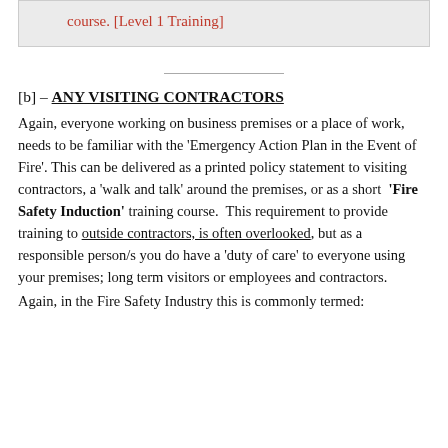course.  [Level 1 Training]
[b] – ANY VISITING CONTRACTORS
Again, everyone working on business premises or a place of work, needs to be familiar with the 'Emergency Action Plan in the Event of Fire'. This can be delivered as a printed policy statement to visiting contractors, a 'walk and talk' around the premises, or as a short  'Fire Safety Induction' training course.  This requirement to provide training to outside contractors, is often overlooked, but as a responsible person/s you do have a 'duty of care' to everyone using your premises; long term visitors or employees and contractors.
Again, in the Fire Safety Industry this is commonly termed: